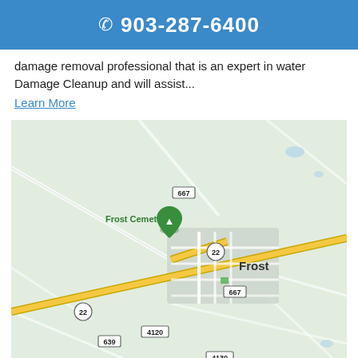903-287-6400
damage removal professional that is an expert in water Damage Cleanup and will assist...
Learn More
[Figure (map): Google Maps view of Frost, Texas showing local roads including routes 22, 667, 639, 4120, 4130, and Frost Cemetery marker with green pin.]